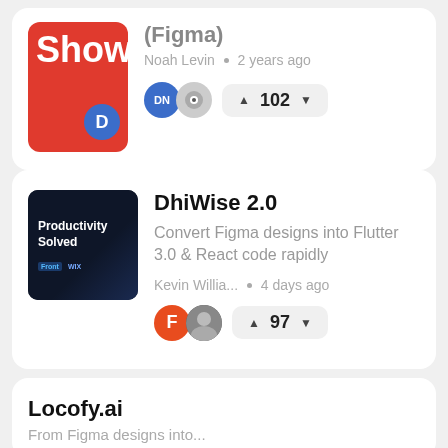[Figure (screenshot): Top card showing a red 'Show' thumbnail with blue circle 'D', title '(Figma)', author 'Noah Levin', '2 years ago', avatars, and vote count 102]
(Figma)
Noah Levin • 2 years ago
102
DhiWise 2.0
Convert Figma designs into Flutter 3.0 & React code rapidly
Kevin Willia... • 4 days ago
97
Locofy.ai